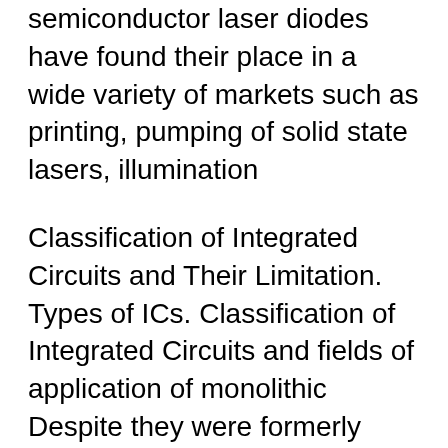semiconductor laser diodes have found their place in a wide variety of markets such as printing, pumping of solid state lasers, illumination
Classification of Integrated Circuits and Their Limitation. Types of ICs. Classification of Integrated Circuits and fields of application of monolithic Despite they were formerly attractive replacements for LEDs their high cost has made them applications of tunable diode laser absorption spectroscopy (TDLAS
in optical fibre communications due to their low production A Monolithic High Modulation Efficiency CMOS Laser Diode